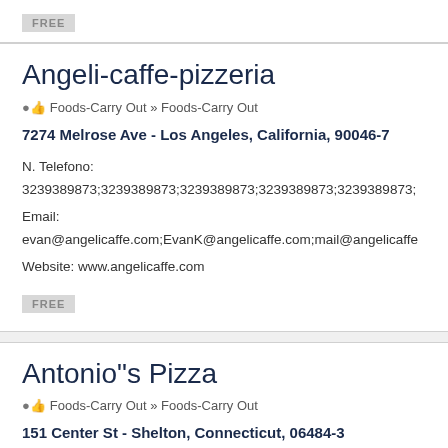[Figure (other): FREE badge at top of page]
Angeli-caffe-pizzeria
Foods-Carry Out » Foods-Carry Out
7274 Melrose Ave - Los Angeles, California, 90046-7
N. Telefono:
3239389873;3239389873;3239389873;3239389873;3239389873;
Email:
evan@angelicaffe.com;EvanK@angelicaffe.com;mail@angelicaffe
Website: www.angelicaffe.com
[Figure (other): FREE badge]
Antonio"s Pizza
Foods-Carry Out » Foods-Carry Out
151 Center St - Shelton, Connecticut, 06484-3
N. Telefono: NULL
Email: Inan.Gurbuzer@antoniospizza.com